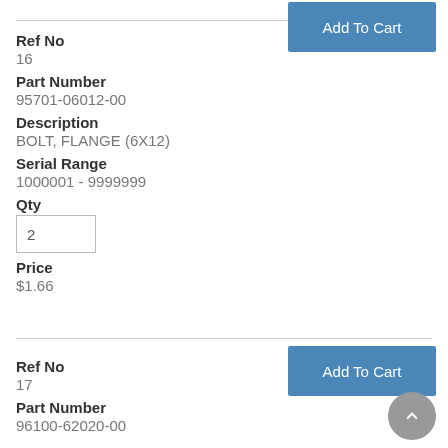Add To Cart
Ref No
16
Part Number
95701-06012-00
Description
BOLT, FLANGE (6X12)
Serial Range
1000001 - 9999999
Qty
2
Price
$1.66
Add To Cart
Ref No
17
Part Number
96100-62020-00